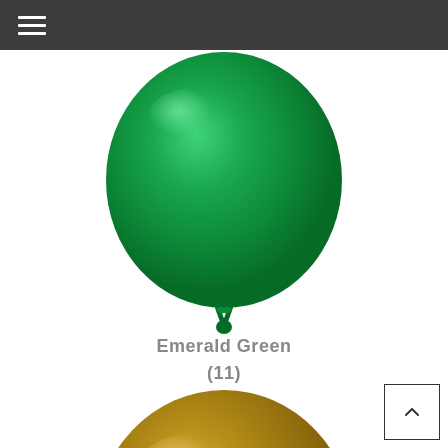[Figure (photo): Emerald green balloon, partially cropped at top, showing the lower portion of a shiny round green balloon with a tied knot at the bottom.]
Emerald Green
(11)
[Figure (photo): Gold/mustard colored balloon, partially cropped at bottom, showing the upper portion of a shiny round gold balloon.]